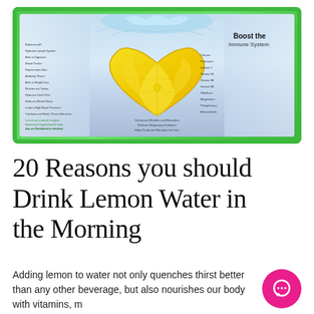[Figure (infographic): Infographic showing a heart-shaped lemon slice submerged in water with text listing 20 reasons to drink lemon water. Green border frame around the image. Text 'Boost the Immune System' visible in upper right. Left and right columns list health benefits. Bottom text mentions lemon as a natural energizer.]
20 Reasons you should Drink Lemon Water in the Morning
Adding lemon to water not only quenches thirst better than any other beverage, but also nourishes our body with vitamins, m...